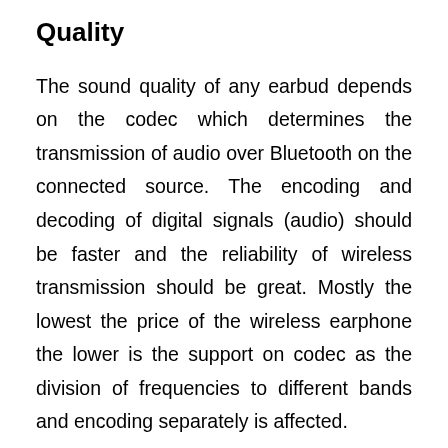Quality
The sound quality of any earbud depends on the codec which determines the transmission of audio over Bluetooth on the connected source. The encoding and decoding of digital signals (audio) should be faster and the reliability of wireless transmission should be great. Mostly the lowest the price of the wireless earphone the lower is the support on codec as the division of frequencies to different bands and encoding separately is affected.
Hence, going for a good pair of wireless earbuds that supports this, is better for rapid and more